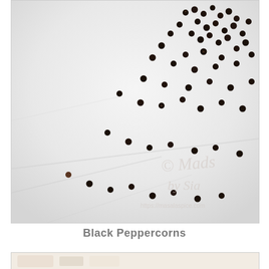[Figure (photo): Close-up photograph of black peppercorns scattered on a white cloth/surface. The small dark round peppercorns are scattered across the frame, mostly concentrated in the upper and middle area. A watermark reads '© Mads by Sia' and 'https://masalaspice.com' in the lower right corner.]
Black Peppercorns
[Figure (photo): Partial view of a second photograph at the bottom of the page, showing what appears to be a light-colored food item on a white background.]